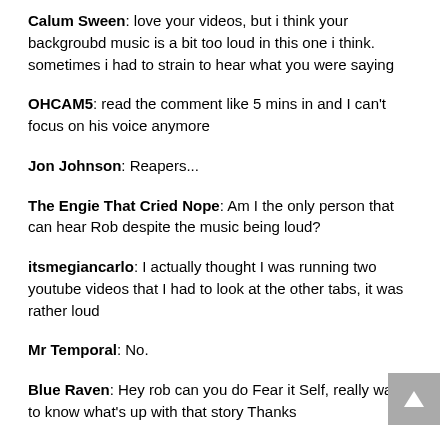Calum Sween: love your videos, but i think your backgroubd music is a bit too loud in this one i think. sometimes i had to strain to hear what you were saying
OHCAM5: read the comment like 5 mins in and I can't focus on his voice anymore
Jon Johnson: Reapers...
The Engie That Cried Nope: Am I the only person that can hear Rob despite the music being loud?
itsmegiancarlo: I actually thought I was running two youtube videos that I had to look at the other tabs, it was rather loud
Mr Temporal: No.
Blue Raven: Hey rob can you do Fear it Self, really want to know what's up with that story Thanks